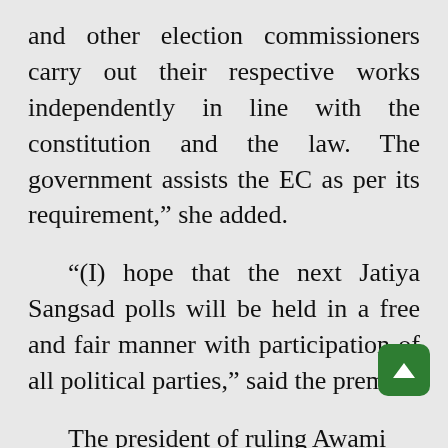and other election commissioners carry out their respective works independently in line with the constitution and the law. The government assists the EC as per its requirement,” she added.
“(I) hope that the next Jatiya Sangsad polls will be held in a free and fair manner with participation of all political parties,” said the premier.
The president of ruling Awami